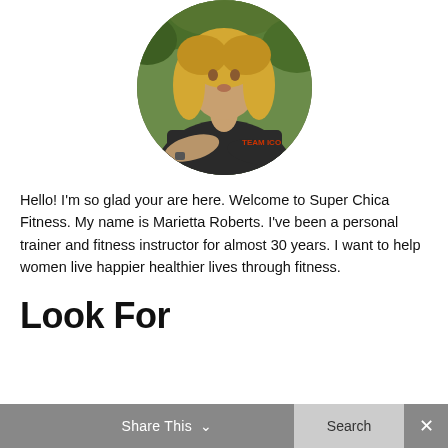[Figure (photo): Circular portrait photo of a blonde woman in a dark athletic jersey with arms crossed, outdoors with green trees in background]
Hello! I'm so glad your are here. Welcome to Super Chica Fitness. My name is Marietta Roberts. I've been a personal trainer and fitness instructor for almost 30 years. I want to help women live happier healthier lives through fitness.
Look For
Share This ∨   Search   ✕